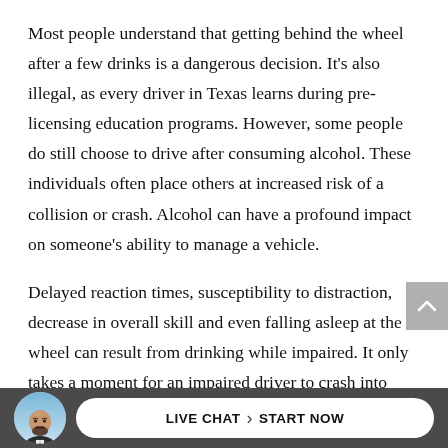Most people understand that getting behind the wheel after a few drinks is a dangerous decision. It's also illegal, as every driver in Texas learns during pre-licensing education programs. However, some people do still choose to drive after consuming alcohol. These individuals often place others at increased risk of a collision or crash. Alcohol can have a profound impact on someone's ability to manage a vehicle.
Delayed reaction times, susceptibility to distraction, decrease in overall skill and even falling asleep at the wheel can result from drinking while impaired. It only takes a moment for an impaired driver to crash into
[Figure (screenshot): Website bottom bar with a circular avatar photo of a bald man with a beard in a suit, and a white pill-shaped button reading 'LIVE CHAT > START NOW' on a dark gray background]